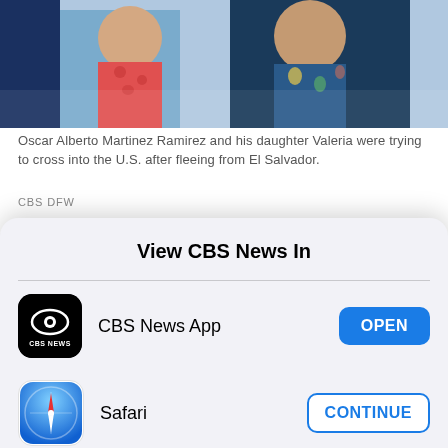[Figure (photo): Partial photo of Oscar Alberto Martinez Ramirez and his daughter Valeria, showing a child in a red outfit and an adult in a floral top.]
Oscar Alberto Martinez Ramirez and his daughter Valeria were trying to cross into the U.S. after fleeing from El Salvador.
CBS DFW
Martinez and his family then decided to attempt to cross the border illegally.
"They never made it and now instead of a reunion
View CBS News In
CBS News App
Safari